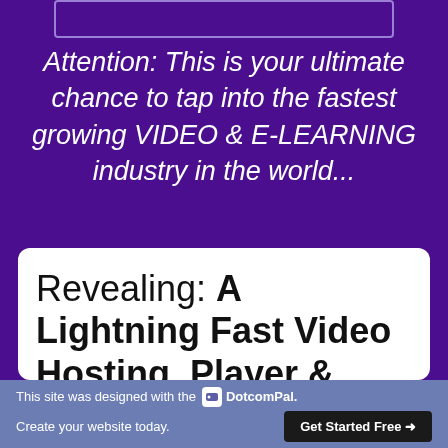[Figure (other): Partial white rectangle outline at top of page]
Attention: This is your ultimate chance to tap into the fastest growing VIDEO & E-LEARNING industry in the world...
Revealing: A Lightning Fast Video Hosting, Player & Marketing
This site was designed with the DotcomPal. Create your website today. Get Started Free →